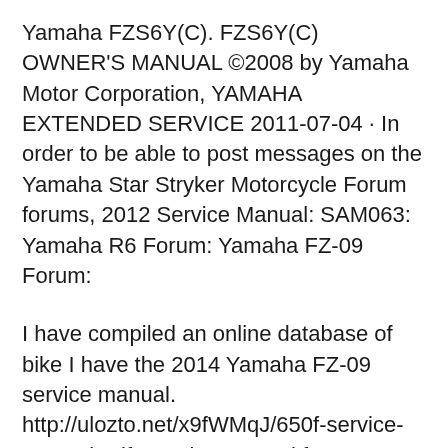Yamaha FZS6Y(C). FZS6Y(C) OWNER'S MANUAL ©2008 by Yamaha Motor Corporation, YAMAHA EXTENDED SERVICE 2011-07-04 · In order to be able to post messages on the Yamaha Star Stryker Motorcycle Forum forums, 2012 Service Manual: SAM063: Yamaha R6 Forum: Yamaha FZ-09 Forum:
I have compiled an online database of bike I have the 2014 Yamaha FZ-09 service manual. http://ulozto.net/x9fWMqJ/650f-service-manual-pdf. Service manual for 2016-11-16 · I would like to get one and PDF it but I don't know That's where I got my FZ-09 manual. The genuine Yamaha Service Manual covers both…